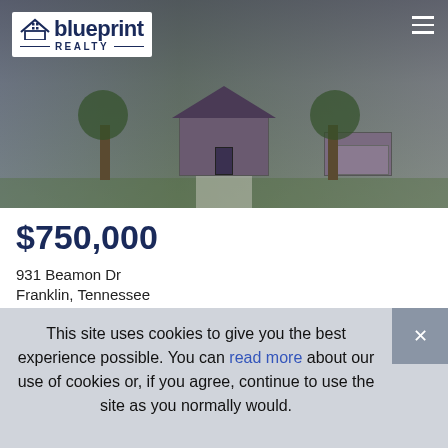[Figure (photo): Exterior photo of a residential home with green lawn, concrete driveway, and trees, overlaid with Blueprint Realty logo in top left and hamburger menu in top right]
$750,000
931 Beamon Dr
Franklin, Tennessee
This site uses cookies to give you the best experience possible. You can read more about our use of cookies or, if you agree, continue to use the site as you normally would.